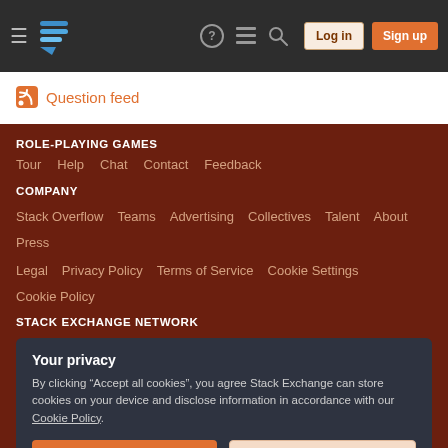Role-Playing Games Stack Exchange — Log in | Sign up
Question feed
ROLE-PLAYING GAMES
Tour   Help   Chat   Contact   Feedback
COMPANY
Stack Overflow   Teams   Advertising   Collectives   Talent   About   Press   Legal   Privacy Policy   Terms of Service   Cookie Settings   Cookie Policy
STACK EXCHANGE NETWORK
Your privacy
By clicking "Accept all cookies", you agree Stack Exchange can store cookies on your device and disclose information in accordance with our Cookie Policy.
Accept all cookies   Customize settings